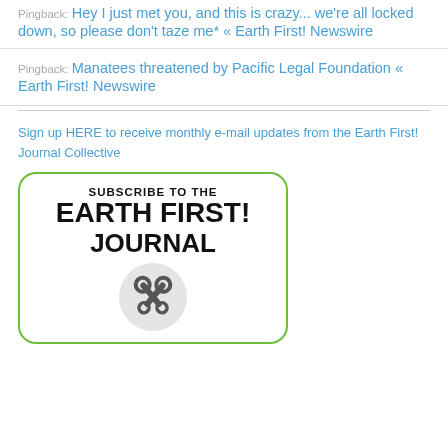Pingback: Hey I just met you, and this is crazy... we're all locked down, so please don't taze me* « Earth First! Newswire
Pingback: Manatees threatened by Pacific Legal Foundation « Earth First! Newswire
Sign up HERE to receive monthly e-mail updates from the Earth First! Journal Collective
[Figure (illustration): Subscribe to the Earth First! Journal box with green rounded border, bold text 'SUBSCRIBE TO THE EARTH FIRST! JOURNAL' and crossed wrenches icon at the bottom.]